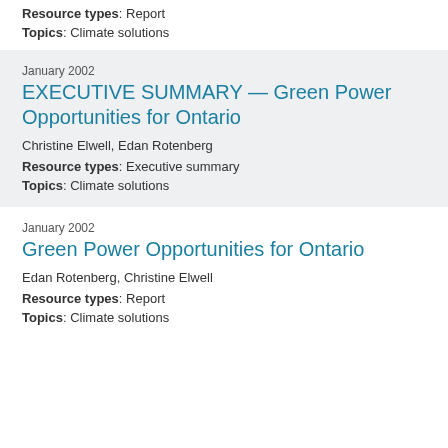Resource types: Report
Topics: Climate solutions
January 2002
EXECUTIVE SUMMARY — Green Power Opportunities for Ontario
Christine Elwell, Edan Rotenberg
Resource types: Executive summary
Topics: Climate solutions
January 2002
Green Power Opportunities for Ontario
Edan Rotenberg, Christine Elwell
Resource types: Report
Topics: Climate solutions